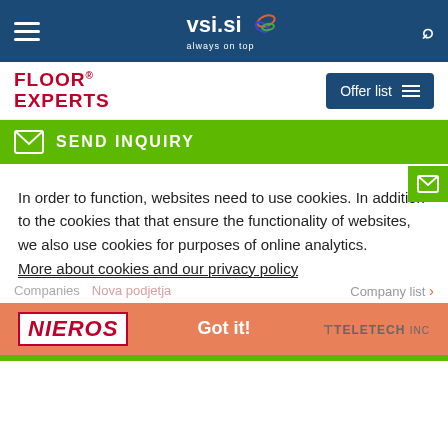vsi.si always on top
[Figure (logo): Floor Experts logo with red text]
SEND INQUIRY
In order to function, websites need to use cookies. In addition to the cookies that that ensure the functionality of websites, we also use cookies for purposes of online analytics.
More about cookies and our privacy policy
Companies  Nova podjetja
Company list >
Got it!
[Figure (logo): Nieros logo in red italic]
[Figure (logo): Teletech Inc logo in grey]